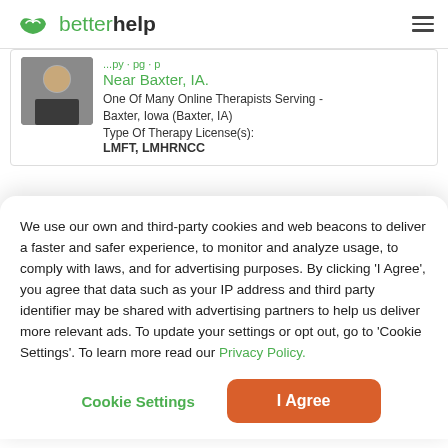betterhelp
[Figure (screenshot): Partially visible therapist card showing therapist photo, location near Baxter IA, and therapy license information]
We use our own and third-party cookies and web beacons to deliver a faster and safer experience, to monitor and analyze usage, to comply with laws, and for advertising purposes. By clicking 'I Agree', you agree that data such as your IP address and third party identifier may be shared with advertising partners to help us deliver more relevant ads. To update your settings or opt out, go to 'Cookie Settings'. To learn more read our Privacy Policy.
Cookie Settings
I Agree